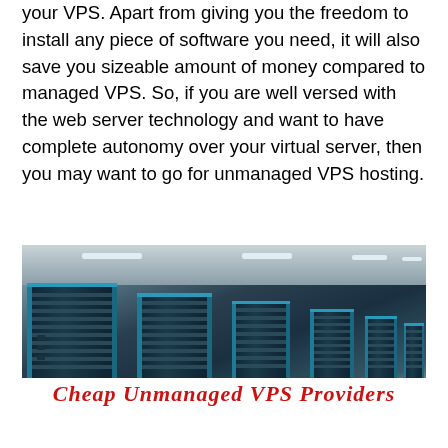your VPS. Apart from giving you the freedom to install any piece of software you need, it will also save you sizeable amount of money compared to managed VPS. So, if you are well versed with the web server technology and want to have complete autonomy over your virtual server, then you may want to go for unmanaged VPS hosting.
[Figure (photo): A data center with rows of blue server racks extending into the distance under a lit ceiling with a tiled floor.]
Cheap Unmanaged VPS Providers